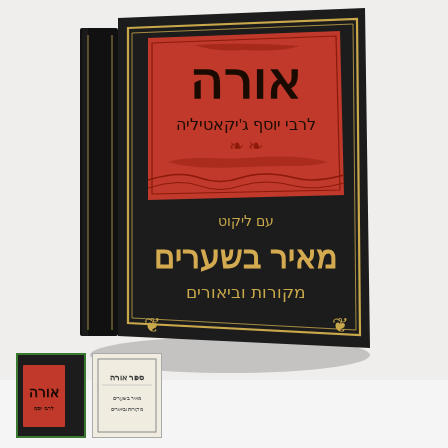[Figure (photo): A black hardcover Hebrew book (sefer) with a red ornate label on the front cover. The cover title in large Hebrew letters reads 'אורה'. The red label contains additional Hebrew text 'לרבי יוסף ג'יקאטיליה'. Below the label on the black cover are Hebrew texts: 'עם ליקוט', 'מאיר בשערים', 'מקורות וביאורים'. The book is shown in a three-quarter perspective view with visible spine. At the bottom of the page are two small thumbnail images: one with a green border showing the same black cover, and one showing what appears to be an interior or alternate cover page in lighter tones.]